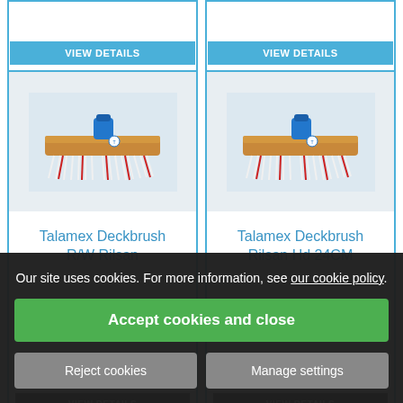[Figure (other): Two product cards at top with VIEW DETAILS buttons (partially visible)]
[Figure (photo): Talamex Deckbrush R/W Rilsan product image - wooden brush with white and red bristles and blue cap]
Talamex Deckbrush R/W Rilsan
£18.33
VIEW DETAILS
[Figure (photo): Talamex Deckbrush Rilsan Hd 24CM product image - wooden brush with white and red bristles and blue cap]
Talamex Deckbrush Rilsan Hd 24CM
£14.74
VIEW DETAILS
Our site uses cookies. For more information, see our cookie policy.
Accept cookies and close
Reject cookies
Manage settings